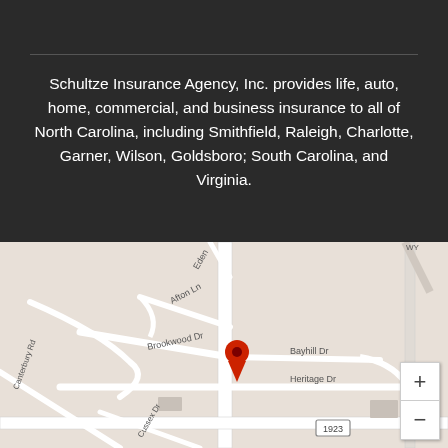Schultze Insurance Agency, Inc. provides life, auto, home, commercial, and business insurance to all of North Carolina, including Smithfield, Raleigh, Charlotte, Garner, Wilson, Goldsboro; South Carolina, and Virginia.
[Figure (map): Google Maps screenshot showing the location of Schultze Insurance Agency with a red map pin marker near the intersection of Brookwood Dr, Heritage Dr, and Bayhill Dr. Roads visible include Eden, Afton Ln, Brookwood Dr, Heritage Dr, Bayhill Dr, Canterbury Rd, Cussex Dr, and route 1923.]